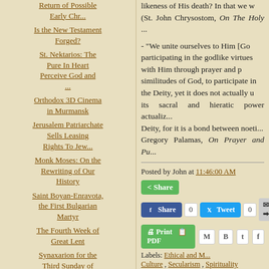Return of Possible Early Chr...
Is the New Testament Forged?
St. Nektarios: The Pure In Heart Perceive God and ...
Orthodox 3D Cinema in Murmansk
Jerusalem Patriarchate Sells Leasing Rights To Jew...
Monk Moses: On the Rewriting of Our History
Saint Boyan-Enravota, the First Bulgarian Martyr
The Fourth Week of Great Lent
Synaxarion for the Third Sunday of Great Lent
likeness of His death? In that we w... (St. John Chrysostom, On The Holy ...
- "We unite ourselves to Him [Go... participating in the godlike virtues ... with Him through prayer and p... similitudes of God, to participate in ... the Deity, yet it does not actually u... its sacral and hieratic power actualiz... Deity, for it is a bond between noeti... Gregory Palamas, On Prayer and Pu...
Posted by John at 11:46:00 AM
Labels: Ethical and M... Culture , Secularism , Spirituality